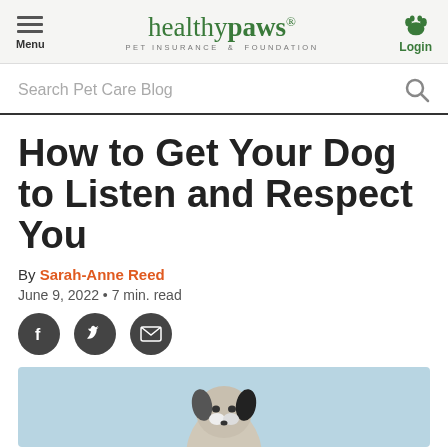Menu | healthy paws® PET INSURANCE & FOUNDATION | Login
Search Pet Care Blog
How to Get Your Dog to Listen and Respect You
By Sarah-Anne Reed
June 9, 2022 • 7 min. read
[Figure (illustration): Social share icons: Facebook (f), Twitter bird, Email envelope — dark circular buttons]
[Figure (photo): Partial photo of a dog (border collie type) on a light blue background, cropped at bottom of page]